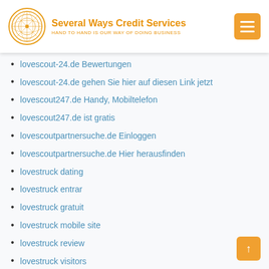Several Ways Credit Services — HAND TO HAND IS OUR WAY OF DOING BUSINESS
lovescout-24.de Bewertungen
lovescout-24.de gehen Sie hier auf diesen Link jetzt
lovescout247.de Handy, Mobiltelefon
lovescout247.de ist gratis
lovescoutpartnersuche.de Einloggen
lovescoutpartnersuche.de Hier herausfinden
lovestruck dating
lovestruck entrar
lovestruck gratuit
lovestruck mobile site
lovestruck review
lovestruck visitors
lovoo dating
lovoo fr esperienze
lovoo mobile site
Lovoo reviews
lovoo username
lovooapp.de Bewertungen
lovooapp.de versuchen, die Website